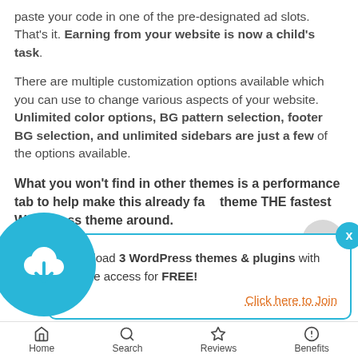paste your code in one of the pre-designated ad slots. That's it. Earning from your website is now a child's task.
There are multiple customization options available which you can use to change various aspects of your website. Unlimited color options, BG pattern selection, footer BG selection, and unlimited sidebars are just a few of the options available.
What you won't find in other themes is a performance tab to help make this already fast theme THE fastest WordPress theme around.
[Figure (screenshot): Popup advertisement box with cloud download icon, text 'Download 3 WordPress themes & plugins with lifetime access for FREE!' and 'Click here to Join' link. A close (X) button in top right of popup. Background shows a scroll-up button.]
Home   Search   Reviews   Benefits